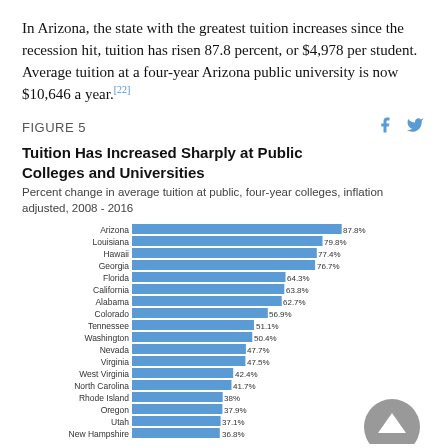In Arizona, the state with the greatest tuition increases since the recession hit, tuition has risen 87.8 percent, or $4,978 per student.  Average tuition at a four-year Arizona public university is now $10,646 a year.[22]
FIGURE 5
Tuition Has Increased Sharply at Public Colleges and Universities
Percent change in average tuition at public, four-year colleges, inflation adjusted, 2008 - 2016
[Figure (bar-chart): Tuition Has Increased Sharply at Public Colleges and Universities]